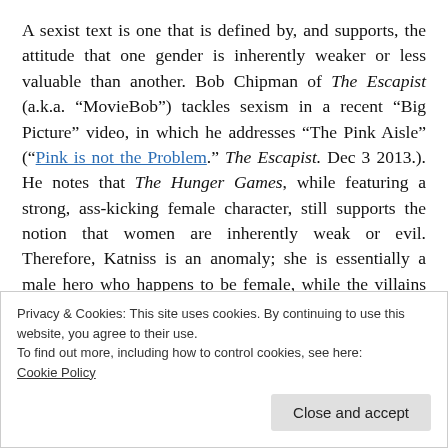A sexist text is one that is defined by, and supports, the attitude that one gender is inherently weaker or less valuable than another. Bob Chipman of The Escapist (a.k.a. “MovieBob”) tackles sexism in a recent “Big Picture” video, in which he addresses “The Pink Aisle” (“Pink is not the Problem.” The Escapist. Dec 3 2013.). He notes that The Hunger Games, while featuring a strong, ass-kicking female character, still supports the notion that women are inherently weak or evil. Therefore, Katniss is an anomaly; she is essentially a male hero who happens to be female, while the villains of the film are
Privacy & Cookies: This site uses cookies. By continuing to use this website, you agree to their use.
To find out more, including how to control cookies, see here: Cookie Policy